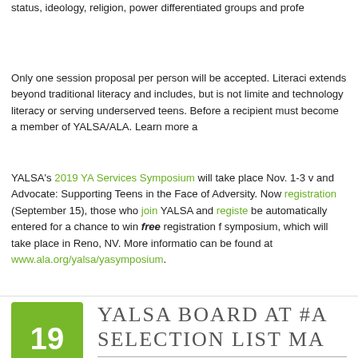status, ideology, religion, power differentiated groups and profe
Only one session proposal per person will be accepted. Literaci extends beyond traditional literacy and includes, but is not limite and technology literacy or serving underserved teens. Before a recipient must become a member of YALSA/ALA. Learn more a
YALSA's 2019 YA Services Symposium will take place Nov. 1-3 v and Advocate: Supporting Teens in the Face of Adversity. Now registration (September 15), those who join YALSA and registe be automatically entered for a chance to win free registration f symposium, which will take place in Reno, NV. More informatio can be found at www.ala.org/yalsa/yasymposium.
YALSA BOARD AT #A SELECTION LIST MA
by YALSA Board